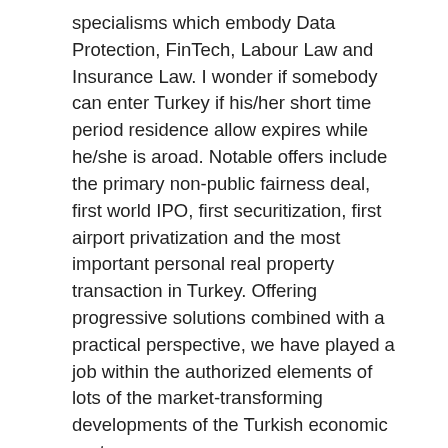specialisms which embody Data Protection, FinTech, Labour Law and Insurance Law. I wonder if somebody can enter Turkey if his/her short time period residence allow expires while he/she is aroad. Notable offers include the primary non-public fairness deal, first world IPO, first securitization, first airport privatization and the most important personal real property transaction in Turkey. Offering progressive solutions combined with a practical perspective, we have played a job within the authorized elements of lots of the market-transforming developments of the Turkish economic system.
For instance, I got a residence permit card issued via a lawyer from Turkey, however, I wish to be sure that this card is actually issued by the Turkish government and never a pretend card. Once you may Turkish citizenship have your residence allow, you'll find a way to journey during that let. 21 years old work visa minimal age &